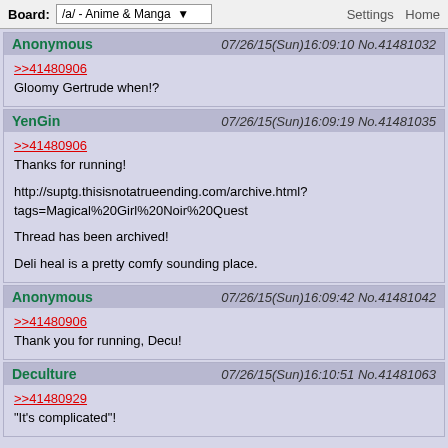Board: /a/ - Anime & Manga   Settings  Home
Anonymous 07/26/15(Sun)16:09:10 No.41481032
>>41480906
Gloomy Gertrude when!?
YenGin 07/26/15(Sun)16:09:19 No.41481035
>>41480906
Thanks for running!
http://suptg.thisisnotatrueending.com/archive.html?tags=Magical%20Girl%20Noir%20Quest
Thread has been archived!
Deli heal is a pretty comfy sounding place.
Anonymous 07/26/15(Sun)16:09:42 No.41481042
>>41480906
Thank you for running, Decu!
Deculture 07/26/15(Sun)16:10:51 No.41481063
>>41480929
"It's complicated"!